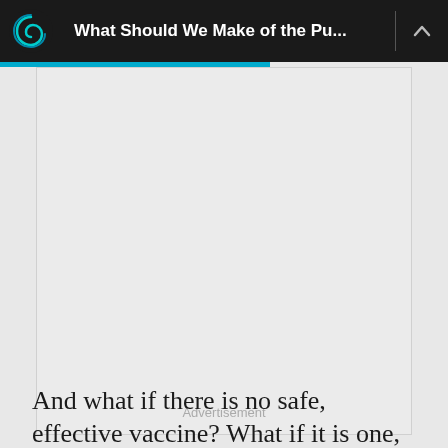What Should We Make of the Pu...
[Figure (other): Advertisement placeholder — large light gray rectangle with 'Advertisement' label at bottom center]
And what if there is no safe, effective vaccine? What if it is one, two or three years